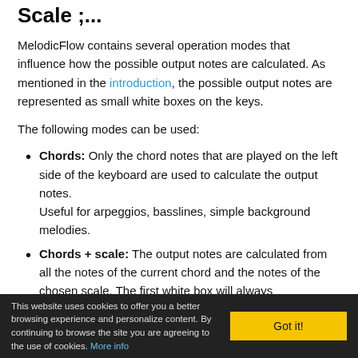Scale ;...
MelodicFlow contains several operation modes that influence how the possible output notes are calculated. As mentioned in the introduction, the possible output notes are represented as small white boxes on the keys.
The following modes can be used:
Chords: Only the chord notes that are played on the left side of the keyboard are used to calculate the output notes. Useful for arpeggios, basslines, simple background melodies.
Chords + scale: The output notes are calculated from all the notes of the current chord and the notes of the chosen scale. The first white box will always
This website uses cookies to offer you a better browsing experience and personalize content. By continuing to browse the site you are agreeing to the use of cookies. More info